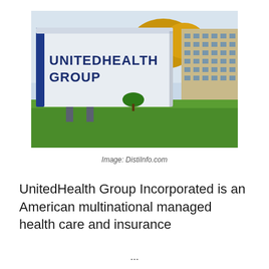[Figure (photo): Outdoor photograph of a large white UnitedHealth Group corporate sign with bold dark blue text, set in front of a multi-story office building and autumn trees with green grass in the foreground.]
Image: DistiInfo.com
UnitedHealth Group Incorporated is an American multinational managed health care and insurance